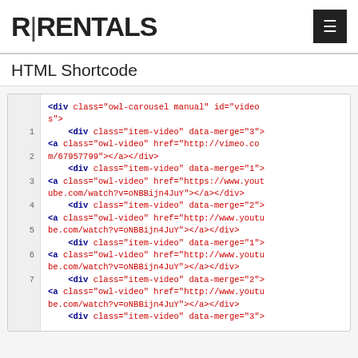R|RENTALS
HTML Shortcode
[Figure (screenshot): Code editor screenshot showing HTML shortcode with syntax highlighting. Dark blue bold tags and red attributes/values on white background with line numbers.]